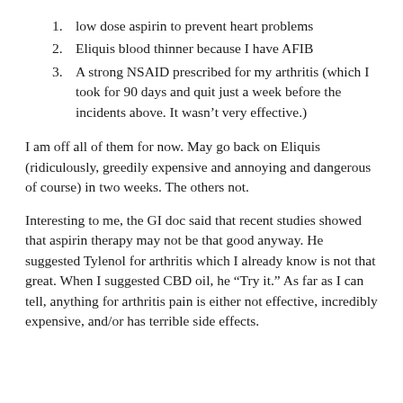1. low dose aspirin to prevent heart problems
2. Eliquis blood thinner because I have AFIB
3. A strong NSAID prescribed for my arthritis (which I took for 90 days and quit just a week before the incidents above. It wasn’t very effective.)
I am off all of them for now. May go back on Eliquis (ridiculously, greedily expensive and annoying and dangerous of course) in two weeks. The others not.
Interesting to me, the GI doc said that recent studies showed that aspirin therapy may not be that good anyway. He suggested Tylenol for arthritis which I already know is not that great. When I suggested CBD oil, he “Try it.” As far as I can tell, anything for arthritis pain is either not effective, incredibly expensive, and/or has terrible side effects.